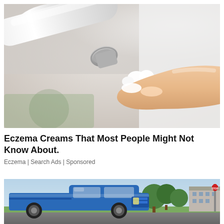[Figure (photo): Close-up photo of a white cream/ointment tube being squeezed, dispensing white cream onto a person's fingertip against a blurred background]
Eczema Creams That Most People Might Not Know About.
Eczema | Search Ads | Sponsored
[Figure (photo): Outdoor photo showing a blue pickup truck parked on a street with trees and a building in the background]